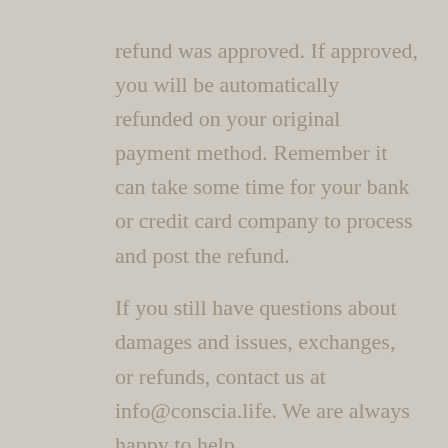refund was approved. If approved, you will be automatically refunded on your original payment method. Remember it can take some time for your bank or credit card company to process and post the refund.
If you still have questions about damages and issues, exchanges, or refunds, contact us at info@conscia.life. We are always happy to help.